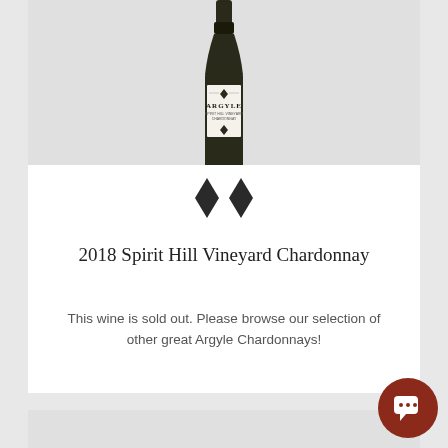[Figure (photo): Argyle wine bottle with white label showing Spirit Hill Vineyard Chardonnay, partially cropped at top]
[Figure (logo): Two dark diamond shapes side by side, Argyle winery logo]
2018 Spirit Hill Vineyard Chardonnay
This wine is sold out. Please browse our selection of other great Argyle Chardonnays!